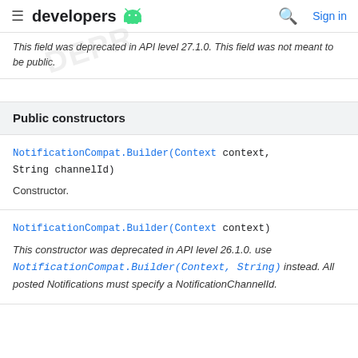developers [Android logo] | Search | Sign in
This field was deprecated in API level 27.1.0. This field was not meant to be public.
Public constructors
NotificationCompat.Builder(Context context, String channelId)
Constructor.
NotificationCompat.Builder(Context context)
This constructor was deprecated in API level 26.1.0. use NotificationCompat.Builder(Context, String) instead. All posted Notifications must specify a NotificationChannelId.